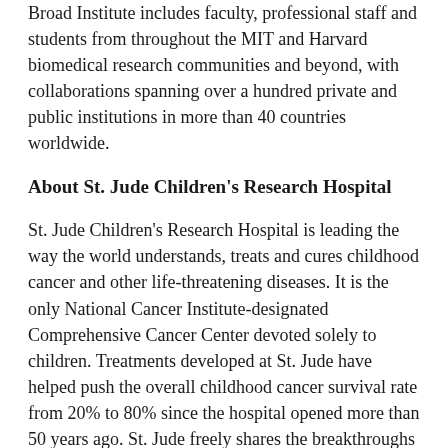Broad Institute includes faculty, professional staff and students from throughout the MIT and Harvard biomedical research communities and beyond, with collaborations spanning over a hundred private and public institutions in more than 40 countries worldwide.
About St. Jude Children's Research Hospital
St. Jude Children's Research Hospital is leading the way the world understands, treats and cures childhood cancer and other life-threatening diseases. It is the only National Cancer Institute-designated Comprehensive Cancer Center devoted solely to children. Treatments developed at St. Jude have helped push the overall childhood cancer survival rate from 20% to 80% since the hospital opened more than 50 years ago. St. Jude freely shares the breakthroughs it makes, and every child saved at St. Jude means doctors and scientists worldwide can use that knowledge to save thousands more children. Families never receive a bill from St. Jude for treatment, travel, housing and food -- because all a family should worry about is helping their child live. To learn more, visit stjude.org or follow St. Jude on social media at